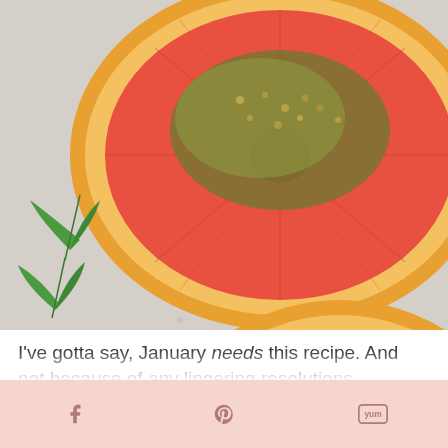[Figure (photo): Overhead photo of two grapefruit halves topped with herbed breadcrumb topping, with fresh mint leaves scattered on a light grey surface]
I've gotta say, January needs this recipe. And not because of any lingering resolutions...
[Figure (other): Social share bar with Facebook, Pinterest, and email/yummly icons on a light pink/peach background]